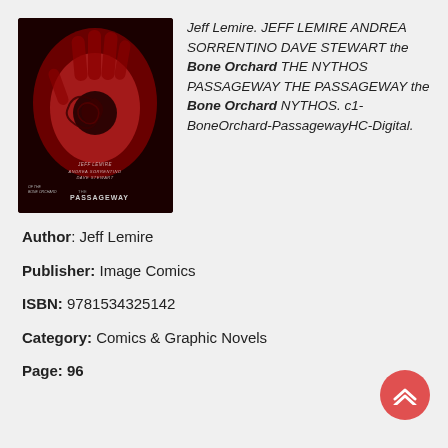[Figure (photo): Book cover of 'The Bone Orchard: The Passageway' showing a dark red hand with a swirling pattern on the palm against a black background. Authors listed as Jeff Lemire, Andrea Sorrentino, Dave Stewart.]
Jeff Lemire. JEFF LEMIRE ANDREA SORRENTINO DAVE STEWART the Bone Orchard THE NYTHOS PASSAGEWAY THE PASSAGEWAY the Bone Orchard NYTHOS. c1-BoneOrchard-PassagewayHC-Digital.
Author: Jeff Lemire
Publisher: Image Comics
ISBN: 9781534325142
Category: Comics & Graphic Novels
Page: 96